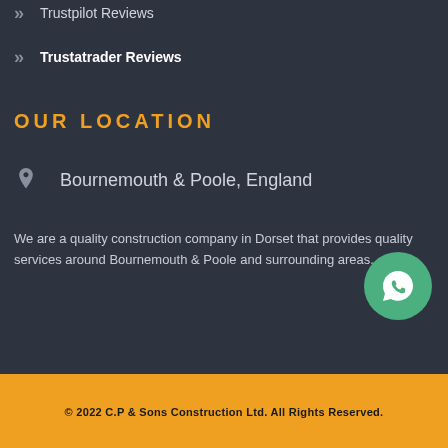Trustpilot Reviews
Trustatrader Reviews
OUR LOCATION
Bournemouth & Poole, England
We are a quality construction company in Dorset that provides quality services around Bournemouth & Poole and surrounding areas.
© 2022 C.P & Sons Construction Ltd. All Rights Reserved.